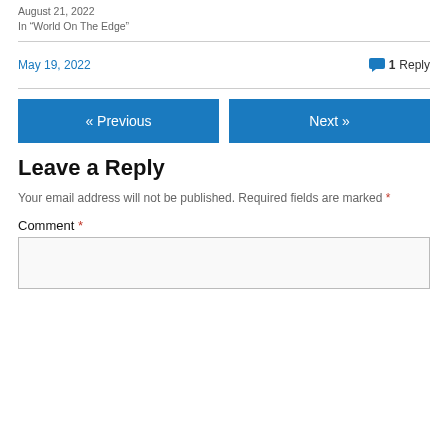August 21, 2022
In "World On The Edge"
May 19, 2022  💬 1 Reply
« Previous
Next »
Leave a Reply
Your email address will not be published. Required fields are marked *
Comment *